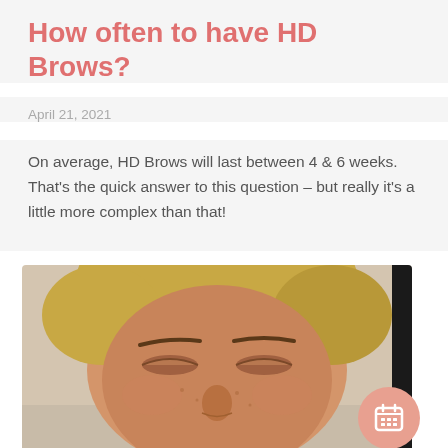How often to have HD Brows?
April 21, 2021
On average, HD Brows will last between 4 & 6 weeks. That's the quick answer to this question – but really it's a little more complex than that!
[Figure (photo): Woman lying down with eyes closed, showing eyebrows after HD Brows treatment. A pink calendar icon button is overlaid in the bottom right corner of the image.]